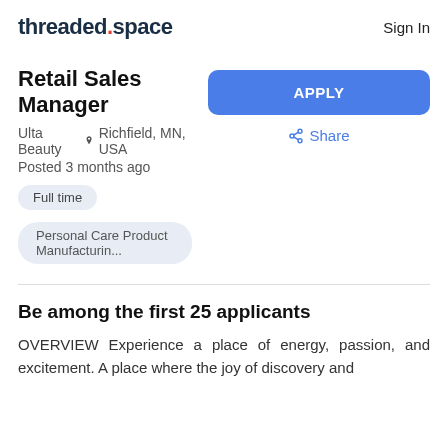threaded.space  Sign In
Retail Sales Manager
Ulta Beauty  Richfield, MN, USA
Posted 3 months ago
Full time
Personal Care Product Manufacturin...
Be among the first 25 applicants
OVERVIEW Experience a place of energy, passion, and excitement. A place where the joy of discovery and